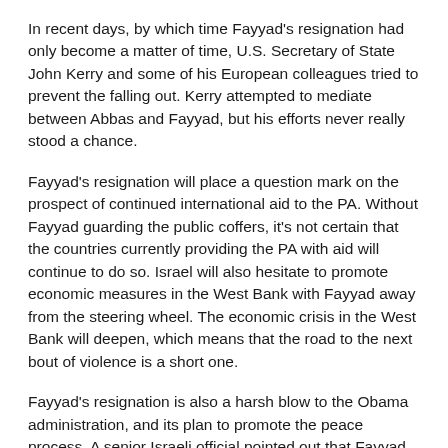In recent days, by which time Fayyad's resignation had only become a matter of time, U.S. Secretary of State John Kerry and some of his European colleagues tried to prevent the falling out. Kerry attempted to mediate between Abbas and Fayyad, but his efforts never really stood a chance.
Fayyad's resignation will place a question mark on the prospect of continued international aid to the PA. Without Fayyad guarding the public coffers, it's not certain that the countries currently providing the PA with aid will continue to do so. Israel will also hesitate to promote economic measures in the West Bank with Fayyad away from the steering wheel. The economic crisis in the West Bank will deepen, which means that the road to the next bout of violence is a short one.
Fayyad's resignation is also a harsh blow to the Obama administration, and its plan to promote the peace process. A senior Israeli official pointed out that Fayyad didn't handle negotiations with Israel, so that at a first glance his resignation shouldn't affect the American-led peace efforts. Nevertheless, the official added, Fayyad's departure will frustrate the administration, which relied on him and saw in him a responsible figure.